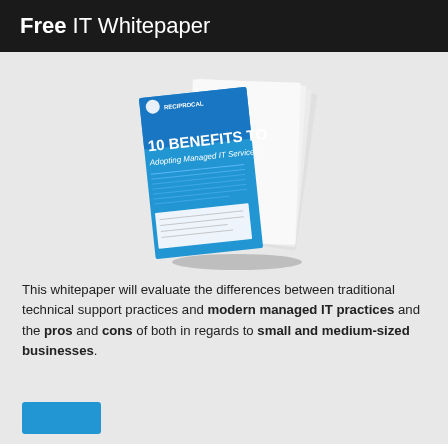Free IT Whitepaper
[Figure (illustration): A tilted whitepaper booklet cover showing '10 BENEFITS TO Adopting Managed IT Services' with a blue cover, Reciprocal logo, and white pages visible on the right side.]
This whitepaper will evaluate the differences between traditional technical support practices and modern managed IT practices and the pros and cons of both in regards to small and medium-sized businesses.